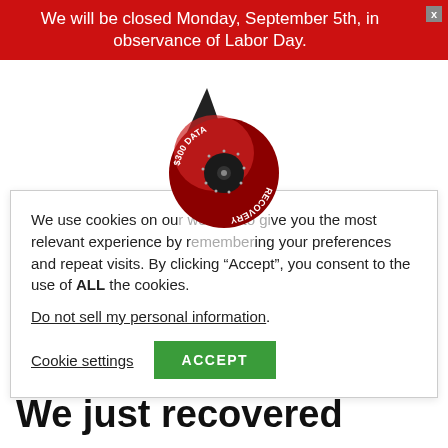We will be closed Monday, September 5th, in observance of Labor Day.
[Figure (logo): Circular logo with a dark arrow/pointer and red disk reading '$300 DATA RECOVERY' in curved text, with a CD/disc in the center]
We use cookies on our website to give you the most relevant experience by remembering your preferences and repeat visits. By clicking “Accept”, you consent to the use of ALL the cookies.
Do not sell my personal information.
Cookie settings  ACCEPT
Menu
We just recovered